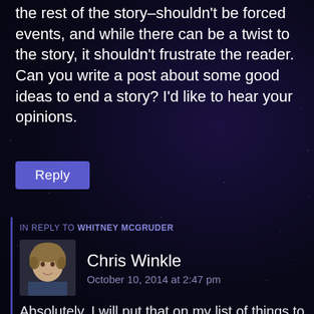Great post! I think it's true that an ending—as well as the rest of the story–shouldn't be forced events, and while there can be a twist to the story, it shouldn't frustrate the reader. Can you write a post about some good ideas to end a story? I'd like to hear your opinions.
Reply
IN REPLY TO WHITNEY MCGRUDER
[Figure (photo): Profile photo of Chris Winkle, a person with curly hair]
Chris Winkle
October 10, 2014 at 2:47 pm
Absolutely, I will put that on my list of things to write. While you're waiting you can read this